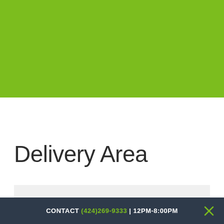[Figure (other): Solid green rectangle banner at top of page]
Delivery Area
CONTACT (424)269-9333 | 12PM-8:00PM